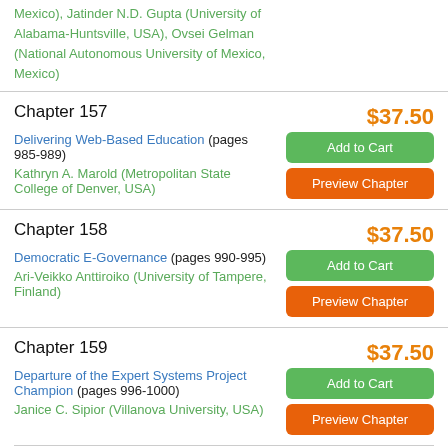Mexico), Jatinder N.D. Gupta (University of Alabama-Huntsville, USA), Ovsei Gelman (National Autonomous University of Mexico, Mexico)
Chapter 157 — $37.50 — Delivering Web-Based Education (pages 985-989) — Kathryn A. Marold (Metropolitan State College of Denver, USA) — Add to Cart — Preview Chapter
Chapter 158 — $37.50 — Democratic E-Governance (pages 990-995) — Ari-Veikko Anttiroiko (University of Tampere, Finland) — Add to Cart — Preview Chapter
Chapter 159 — $37.50 — Departure of the Expert Systems Project Champion (pages 996-1000) — Janice C. Sipior (Villanova University, USA) — Add to Cart — Preview Chapter